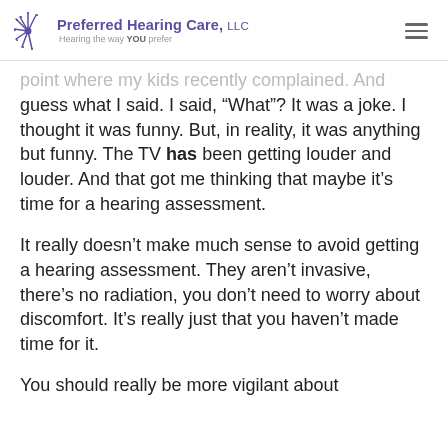Preferred Hearing Care, LLC — Hearing the way YOU prefer
point where my kids recently complained. And guess what I said. I said, “What”? It was a joke. I thought it was funny. But, in reality, it was anything but funny. The TV has been getting louder and louder. And that got me thinking that maybe it’s time for a hearing assessment.
It really doesn’t make much sense to avoid getting a hearing assessment. They aren’t invasive, there’s no radiation, you don’t need to worry about discomfort. It’s really just that you haven’t made time for it.
You should really be more vigilant about